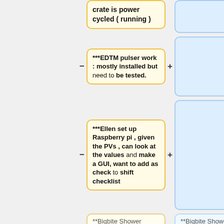crate is power cycled ( running )
***EDTM pulser work : mostly installed but need to be tested.
***Ellen set up Raspberry pi , given the PVs , can look at the values and make a GUI, want to add as check to shift checklist
**Bigbite Shower
**Bigbite Shower
***taking data, Provokar focusing on calibration and optimizing HV
***one issue with 1 preshower threshold : FADC pedestals needed to be adjusted - Ben has some software